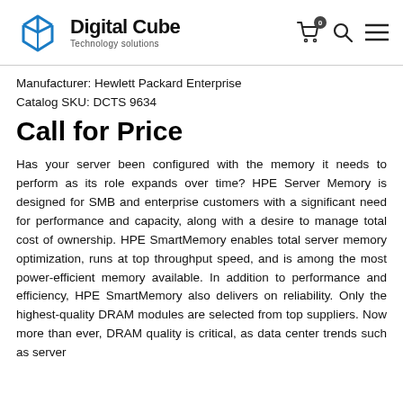Digital Cube Technology solutions
Manufacturer: Hewlett Packard Enterprise
Catalog SKU: DCTS 9634
Call for Price
Has your server been configured with the memory it needs to perform as its role expands over time? HPE Server Memory is designed for SMB and enterprise customers with a significant need for performance and capacity, along with a desire to manage total cost of ownership. HPE SmartMemory enables total server memory optimization, runs at top throughput speed, and is among the most power-efficient memory available. In addition to performance and efficiency, HPE SmartMemory also delivers on reliability. Only the highest-quality DRAM modules are selected from top suppliers. Now more than ever, DRAM quality is critical, as data center trends such as server